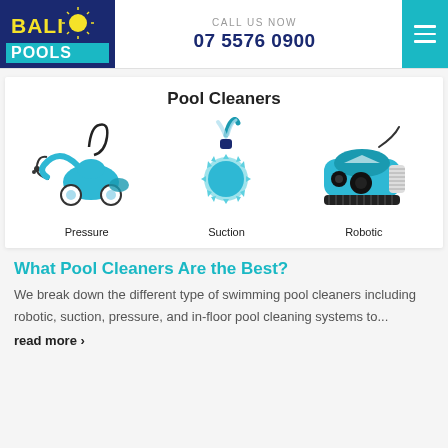[Figure (logo): Bali Pools logo — yellow BALI text with sun graphic and white POOLS text on dark blue background with teal wave stripe]
CALL US NOW
07 5576 0900
Pool Cleaners
[Figure (illustration): Three types of pool cleaners shown as illustrations with labels: Pressure (blue robot on wheels with hose), Suction (blue starburst/spiky disc shape with pipe), Robotic (teal robotic cleaner with brushes)]
What Pool Cleaners Are the Best?
We break down the different type of swimming pool cleaners including robotic, suction, pressure, and in-floor pool cleaning systems to...
read more >